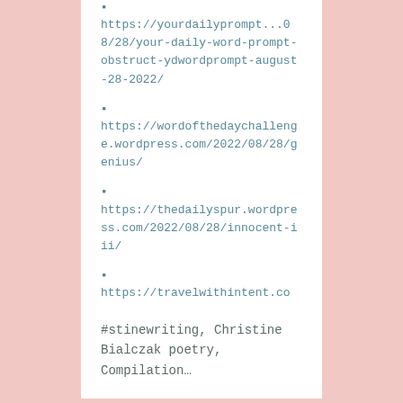https://yourdailyprompt...28/your-daily-word-prompt-obstruct-ydwordprompt-august-28-2022/
https://wordofthedaychallenge.wordpress.com/2022/08/28/genius/
https://thedailyspur.wordpress.com/2022/08/28/innocent-iii/
https://travelwithintent.com/2022/08/28/straight/
#stinewriting, Christine Bialczak poetry, Compilation...